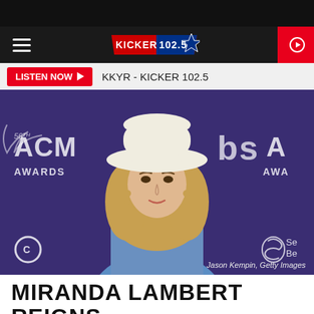KICKER 102.5 — KKYR
LISTEN NOW ▶  KKYR - KICKER 102.5
[Figure (photo): Miranda Lambert posing at the 56th ACM Awards red carpet, wearing a white cowboy hat, denim jacket, and turquoise necklace. Background shows ACM Awards and CBS logos. Photo credit: Jason Kempin, Getty Images.]
Jason Kempin, Getty Images
MIRANDA LAMBERT REIGNS